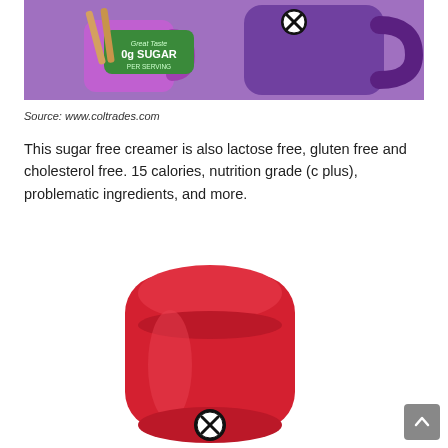[Figure (photo): Photo of a sugar-free creamer product package with '0g SUGAR per serving' label on green badge, alongside purple mugs, with a circular X/close button overlay]
Source: www.coltrades.com
This sugar free creamer is also lactose free, gluten free and cholesterol free. 15 calories, nutrition grade (c plus), problematic ingredients, and more.
[Figure (photo): Photo of a round red container/canister product with a circular X/close button overlay at the bottom center]